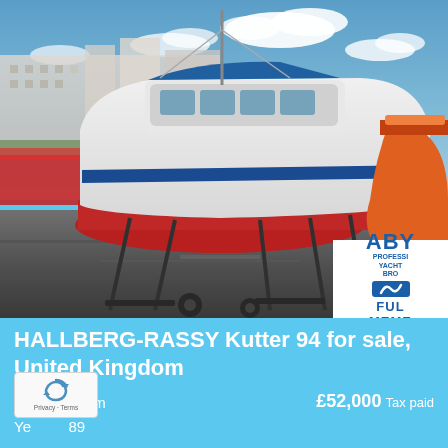[Figure (photo): A white sailboat with blue stripe and red keel on a boat stand in a marina yard. Blue sky with clouds in background, buildings visible. An orange lifeboat/vessel visible on right. ABYA Professional Yacht Brokers Full Member logo in bottom right corner of photo.]
HALLBERG-RASSY Kutter 94 for sale, United Kingdom
Length: 9.1 m
Year: 1989
£52,000  Tax paid